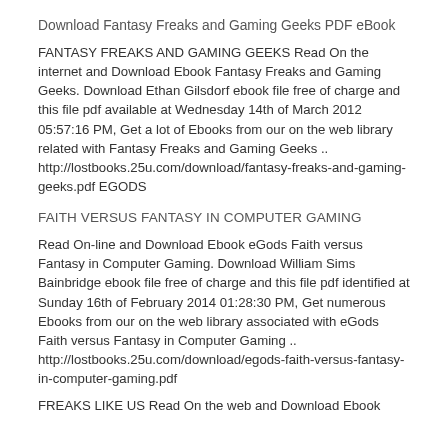Download Fantasy Freaks and Gaming Geeks PDF eBook
FANTASY FREAKS AND GAMING GEEKS Read On the internet and Download Ebook Fantasy Freaks and Gaming Geeks. Download Ethan Gilsdorf ebook file free of charge and this file pdf available at Wednesday 14th of March 2012 05:57:16 PM, Get a lot of Ebooks from our on the web library related with Fantasy Freaks and Gaming Geeks .. http://lostbooks.25u.com/download/fantasy-freaks-and-gaming-geeks.pdf EGODS
FAITH VERSUS FANTASY IN COMPUTER GAMING
Read On-line and Download Ebook eGods Faith versus Fantasy in Computer Gaming. Download William Sims Bainbridge ebook file free of charge and this file pdf identified at Sunday 16th of February 2014 01:28:30 PM, Get numerous Ebooks from our on the web library associated with eGods Faith versus Fantasy in Computer Gaming .. http://lostbooks.25u.com/download/egods-faith-versus-fantasy-in-computer-gaming.pdf
FREAKS LIKE US Read On the web and Download Ebook